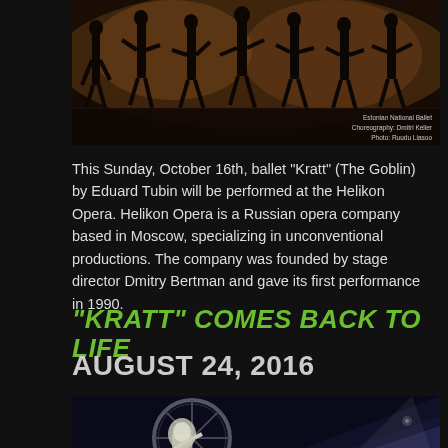[Figure (photo): Dancers on a dark stage, silhouetted figures with warm amber lighting. Caption overlay reads: Estonian National Ballet, Choreography: Dmitri Keller, Photo: Ruudu Liasoo]
This Sunday, October 16th, ballet "Kratt" (The Goblin) by Eduard Tubin will be performed at the Helikon Opera. Helikon Opera is a Russian opera company based in Moscow, specializing in unconventional productions. The company was founded by stage director Dmitry Bertman and gave its first performance in 1990.
"KRATT" COMES BACK TO LIFE
AUGUST 24, 2016
[Figure (photo): Performer inside a large spinning wheel/Cyr wheel on a dark stage with dramatic blue and white spotlight beams]